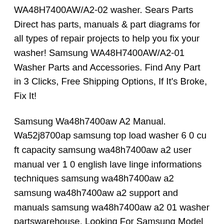WA48H7400AW/A2-02 washer. Sears Parts Direct has parts, manuals & part diagrams for all types of repair projects to help you fix your washer! Samsung WA48H7400AW/A2-01 Washer Parts and Accessories. Find Any Part in 3 Clicks, Free Shipping Options, If It's Broke, Fix It!
Samsung Wa48h7400aw A2 Manual. Wa52j8700ap samsung top load washer 6 0 cu ft capacity samsung wa48h7400aw a2 user manual ver 1 0 english lave linge informations techniques samsung wa48h7400aw a2 samsung wa48h7400aw a2 support and manuals samsung wa48h7400aw a2 01 washer partswarehouse. Looking For Samsung Model Wa48h7400aw A2 02 Washer Repair. Mar 18, 2014B B· View And Download Samsung WA45H7000AW/A2 User Manual. Samsung WA45H7000AW/A2 user manual was written in English and published in PDF File (Portable Document Format). You can find helpful and important information or learn the basics of